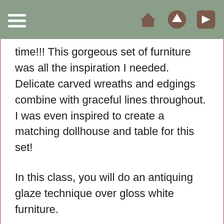time!!! This gorgeous set of furniture was all the inspiration I needed. Delicate carved wreaths and edgings combine with graceful lines throughout. I was even inspired to create a matching dollhouse and table for this set!

In this class, you will do an antiquing glaze technique over gloss white furniture.

All of the fabrics used in this setting are fabrics that I designed and printed myself. They feature a darling cherub motif which I have carried out through the entire room. The colors are the softest peachy pink and tan, a